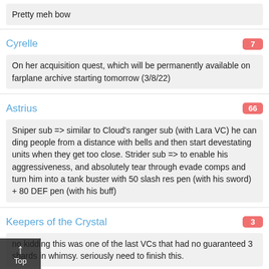Pretty meh bow
Cyrelle
7
On her acquisition quest, which will be permanently available on farplane archive starting tomorrow (3/8/22)
Astrius
66
Sniper sub => similar to Cloud's ranger sub (with Lara VC) he can ding people from a distance with bells and then start devestating units when they get too close. Strider sub => to enable his aggressiveness, and absolutely tear through evade comps and turn him into a tank buster with 50 slash res pen (with his sword) + 80 DEF pen (with his buff)
Keepers of the Crystal
3
no kidding this was one of the last VCs that had no guaranteed 3 shards in whimsy. seriously need to finish this.